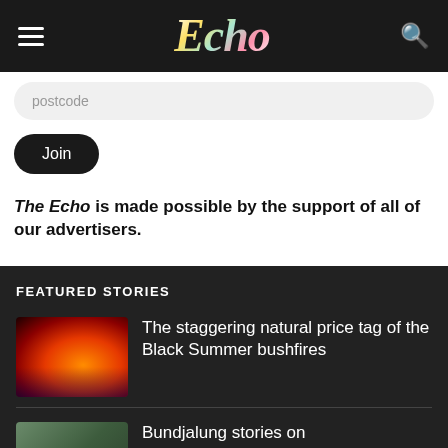Echo
postcode
Join
The Echo is made possible by the support of all of our advertisers.
FEATURED STORIES
[Figure (photo): Nighttime bushfire scene with orange flames and emergency vehicle lights]
The staggering natural price tag of the Black Summer bushfires
[Figure (photo): Person outdoors]
Bundjalung stories on